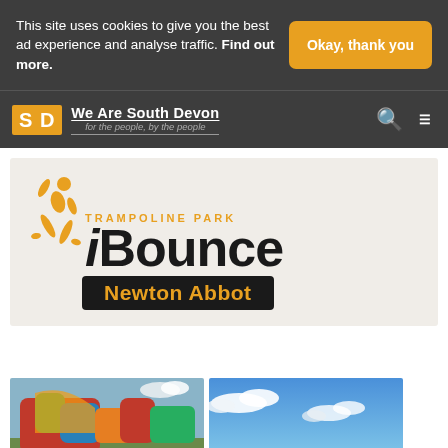This site uses cookies to give you the best ad experience and analyse traffic. Find out more.
[Figure (other): Orange button labeled 'Okay, thank you']
[Figure (logo): SD logo box in orange with 'We Are South Devon, for the people, by the people' site name]
[Figure (logo): iBounce Trampoline Park Newton Abbot logo on beige background with jumping figure silhouette]
[Figure (photo): Photo of colorful inflatable bouncy castle/slide structure outdoors]
[Figure (photo): Photo showing blue sky with clouds]